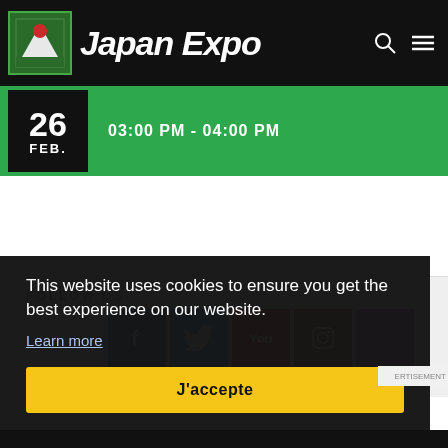Japan Expo
26 FEB.
03:00 PM - 04:00 PM
FOLLOW US
This website uses cookies to ensure you get the best experience on our website.
Learn more
J'accepte